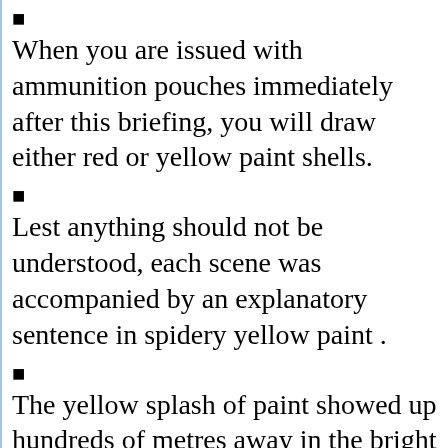■
When you are issued with ammunition pouches immediately after this briefing, you will draw either red or yellow paint shells.
■
Lest anything should not be understood, each scene was accompanied by an explanatory sentence in spidery yellow paint .
■
The yellow splash of paint showed up hundreds of metres away in the bright sunshine.